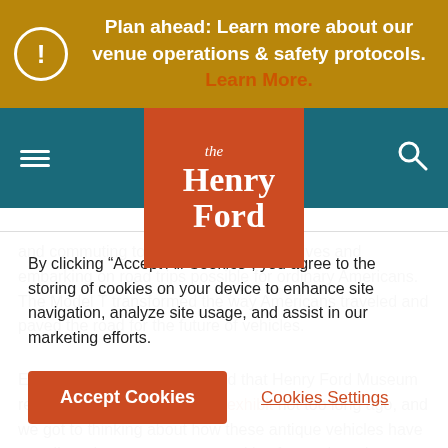Plan ahead: Learn more about our venue operations & safety protocols. Learn More.
[Figure (logo): The Henry Ford museum logo - orange square with 'the Henry Ford' text in white]
and commuting to work to taking long drives and embarking on road trips possible for ordinary Americans. The Model T transformed the way Americans traveled and paved the road for the future of vehicles.
Expedia Viewfinder discovered that Henry Ford Museum refreshed its Driving America exhibit not too long ago, and we got to thinking about how these antique vehicles have contributed to our own opportunities for modern-day travel. With a set of wheels, we can tour unique corners of the country and witness unrivaled beauty at our
By clicking "Accept All Cookies", you agree to the storing of cookies on your device to enhance site navigation, analyze site usage, and assist in our marketing efforts.
Accept Cookies   Cookies Settings